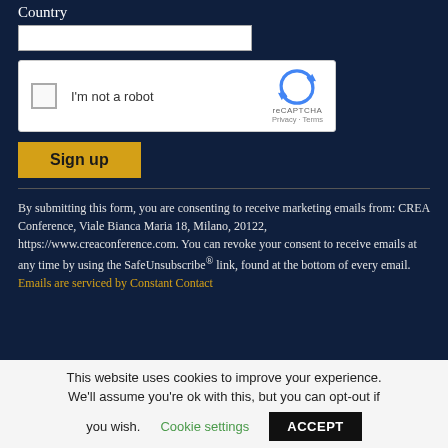Country
[Figure (screenshot): reCAPTCHA widget with checkbox labeled 'I'm not a robot' and reCAPTCHA logo with Privacy · Terms links]
Sign up
By submitting this form, you are consenting to receive marketing emails from: CREA Conference, Viale Bianca Maria 18, Milano, 20122, https://www.creaconference.com. You can revoke your consent to receive emails at any time by using the SafeUnsubscribe® link, found at the bottom of every email. Emails are serviced by Constant Contact
This website uses cookies to improve your experience. We'll assume you're ok with this, but you can opt-out if you wish. Cookie settings ACCEPT